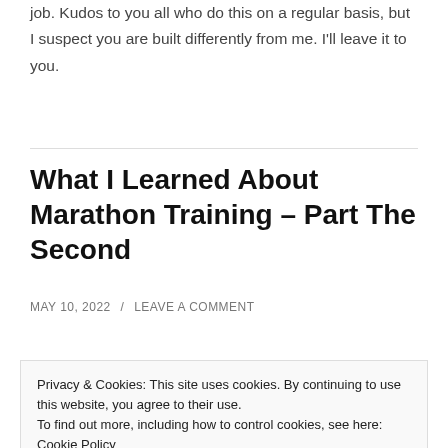job. Kudos to you all who do this on a regular basis, but I suspect you are built differently from me. I'll leave it to you.
What I Learned About Marathon Training – Part The Second
MAY 10, 2022 / LEAVE A COMMENT
(faint/partially visible text)
Privacy & Cookies: This site uses cookies. By continuing to use this website, you agree to their use. To find out more, including how to control cookies, see here: Cookie Policy
Close and accept
2013. To summarize that story: too much, too fast,